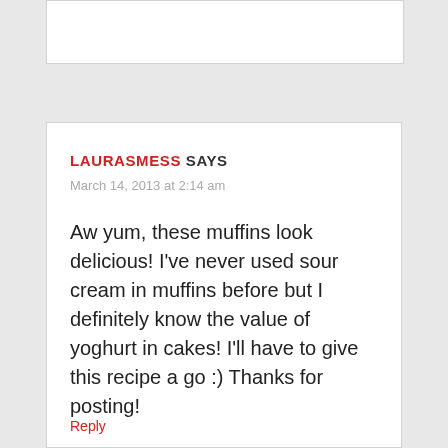LAURASMESS SAYS
March 14, 2013 at 2:14 am
Aw yum, these muffins look delicious! I've never used sour cream in muffins before but I definitely know the value of yoghurt in cakes! I'll have to give this recipe a go :) Thanks for posting!
Reply